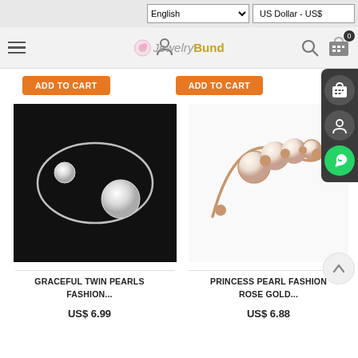English | US Dollar - US$
[Figure (screenshot): JewelryBund website navigation bar with hamburger menu, user icon, JewelryBund logo, search icon, and cart icon with 0 badge]
ADD TO CART | ADD TO CART
[Figure (photo): Silver bangle bracelet with two pearl balls on black background]
[Figure (photo): Rose gold open cuff bracelet with five pearl and gold beads on white background]
GRACEFUL TWIN PEARLS FASHION...
PRINCESS PEARL FASHION ROSE GOLD...
US$ 6.99
US$ 6.88